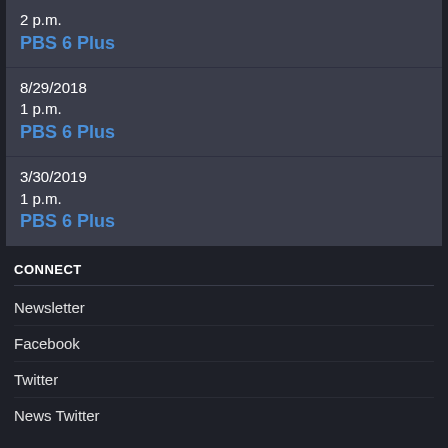2 p.m.
PBS 6 Plus
8/29/2018
1 p.m.
PBS 6 Plus
3/30/2019
1 p.m.
PBS 6 Plus
CONNECT
Newsletter
Facebook
Twitter
News Twitter